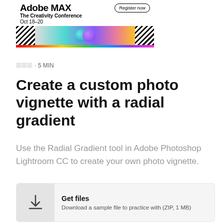[Figure (illustration): Adobe MAX – The Creativity Conference banner with 'Register now' button, 'Oct 18–20' text, a radial gradient with teal and purple circles, hatched patterns on both sides, and a rainbow bar at the bottom.]
🔲🔲🔲 · 5 MIN
Create a custom photo vignette with a radial gradient
Use the Radial Gradient tool in Adobe Photoshop Lightroom CC to create your own photo vignette.
[Figure (other): Star rating icons (5 stars, gray)]
Get files
Download a sample file to practice with (ZIP, 1 MB)